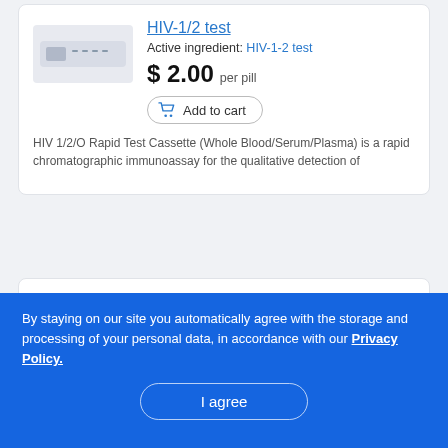[Figure (photo): HIV rapid test cassette device, gray/white]
HIV-1/2 test
Active ingredient: HIV-1-2 test
$ 2.00 per pill
Add to cart
HIV 1/2/O Rapid Test Cassette (Whole Blood/Serum/Plasma) is a rapid chromatographic immunoassay for the qualitative detection of
[Figure (photo): Orange oval pill with imprint S75]
Generic Janumet
Active ingredient: sitagliptin-metformin
$ 2.01 per pill
By staying on our site you automatically agree with the storage and processing of your personal data, in accordance with our Privacy Policy.
I agree